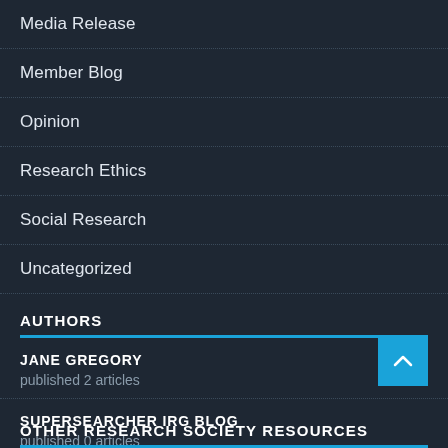Media Release
Member Blog
Opinion
Research Ethics
Social Research
Uncategorized
AUTHORS
JANE GREGORY
published 2 articles
SUPERSEARCHER IRG BLOG
published 0 articles
OTHER RESEARCH SOCIETY RESOURCES